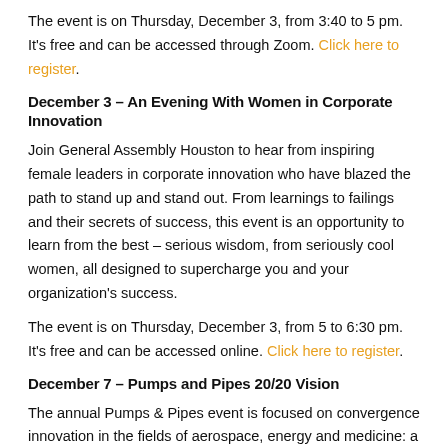The event is on Thursday, December 3, from 3:40 to 5 pm. It's free and can be accessed through Zoom. Click here to register.
December 3 – An Evening With Women in Corporate Innovation
Join General Assembly Houston to hear from inspiring female leaders in corporate innovation who have blazed the path to stand up and stand out. From learnings to failings and their secrets of success, this event is an opportunity to learn from the best – serious wisdom, from seriously cool women, all designed to supercharge you and your organization's success.
The event is on Thursday, December 3, from 5 to 6:30 pm. It's free and can be accessed online. Click here to register.
December 7 – Pumps and Pipes 20/20 Vision
The annual Pumps & Pipes event is focused on convergence innovation in the fields of aerospace, energy and medicine: a truly uniquely Houston approach. The day-long summit features an expo and various panels and speakers.